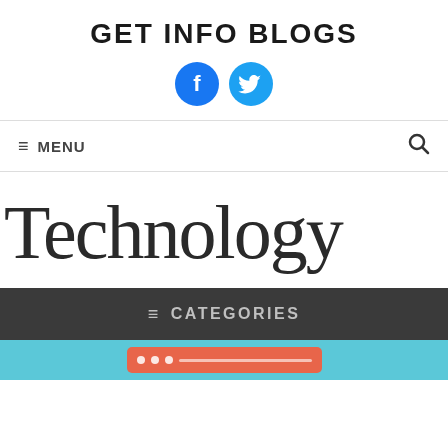GET INFO BLOGS
[Figure (logo): Facebook and Twitter social media icons (circular blue buttons with white icons)]
≡ MENU
Technology
≡ CATEGORIES
[Figure (screenshot): Bottom strip with light blue background and an orange browser bar with dots]